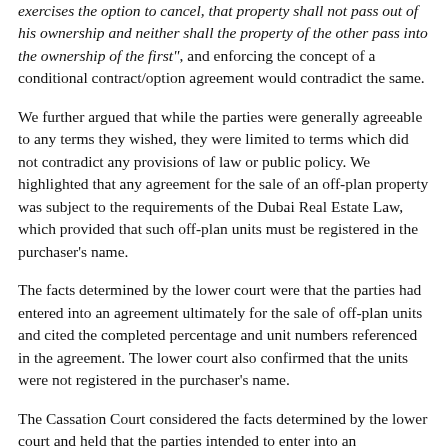exercises the option to cancel, that property shall not pass out of his ownership and neither shall the property of the other pass into the ownership of the first", and enforcing the concept of a conditional contract/option agreement would contradict the same.
We further argued that while the parties were generally agreeable to any terms they wished, they were limited to terms which did not contradict any provisions of law or public policy. We highlighted that any agreement for the sale of an off-plan property was subject to the requirements of the Dubai Real Estate Law, which provided that such off-plan units must be registered in the purchaser's name.
The facts determined by the lower court were that the parties had entered into an agreement ultimately for the sale of off-plan units and cited the completed percentage and unit numbers referenced in the agreement. The lower court also confirmed that the units were not registered in the purchaser's name.
The Cassation Court considered the facts determined by the lower court and held that the parties intended to enter into an